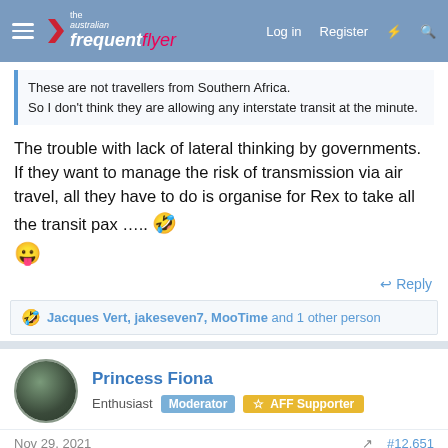the australian frequent flyer | Log in | Register
These are not travellers from Southern Africa.
So I don't think they are allowing any interstate transit at the minute.
The trouble with lack of lateral thinking by governments. If they want to manage the risk of transmission via air travel, all they have to do is organise for Rex to take all the transit pax ….. 🤣😛
Reply
🤣 Jacques Vert, jakeseven7, MooTime and 1 other person
Princess Fiona
Enthusiast Moderator ☆ AFF Supporter
Nov 29, 2021  #12,651
Silvia said: